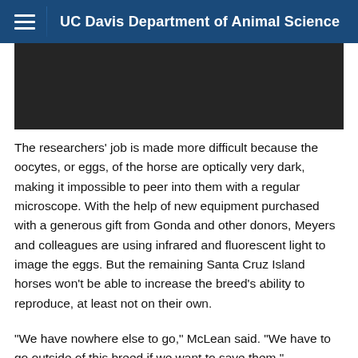UC Davis Department of Animal Science
[Figure (photo): Dark rectangular image placeholder, appears to be a dark/black photo area]
The researchers' job is made more difficult because the oocytes, or eggs, of the horse are optically very dark, making it impossible to peer into them with a regular microscope. With the help of new equipment purchased with a generous gift from Gonda and other donors, Meyers and colleagues are using infrared and fluorescent light to image the eggs. But the remaining Santa Cruz Island horses won't be able to increase the breed's ability to reproduce, at least not on their own.
“We have nowhere else to go,” McLean said. “We have to go outside of this breed if we want to save them.”